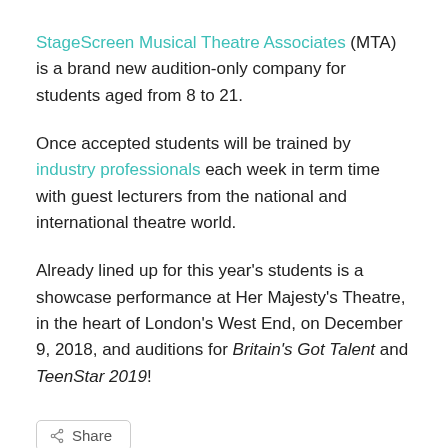StageScreen Musical Theatre Associates (MTA) is a brand new audition-only company for students aged from 8 to 21.
Once accepted students will be trained by industry professionals each week in term time with guest lecturers from the national and international theatre world.
Already lined up for this year's students is a showcase performance at Her Majesty's Theatre, in the heart of London's West End, on December 9, 2018, and auditions for Britain's Got Talent and TeenStar 2019!